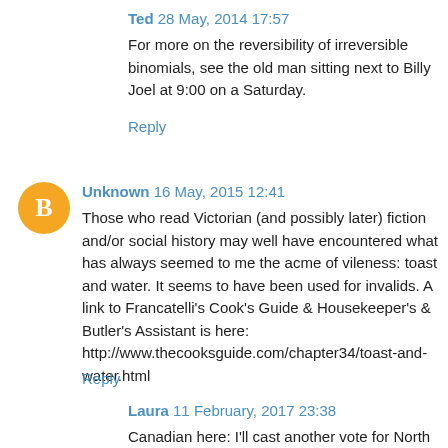Ted 28 May, 2014 17:57
For more on the reversibility of irreversible binomials, see the old man sitting next to Billy Joel at 9:00 on a Saturday.
Reply
[Figure (illustration): Orange circle avatar with white blogger 'B' icon]
Unknown 16 May, 2015 12:41
Those who read Victorian (and possibly later) fiction and/or social history may well have encountered what has always seemed to me the acme of vileness: toast and water. It seems to have been used for invalids. A link to Francatelli's Cook's Guide & Housekeeper's & Butler's Assistant is here: http://www.thecooksguide.com/chapter34/toast-and-water.html
Reply
Laura 11 February, 2017 23:38
Canadian here: I'll cast another vote for North Americans who don't like soggy toast! I like my toast warm, but I loathe